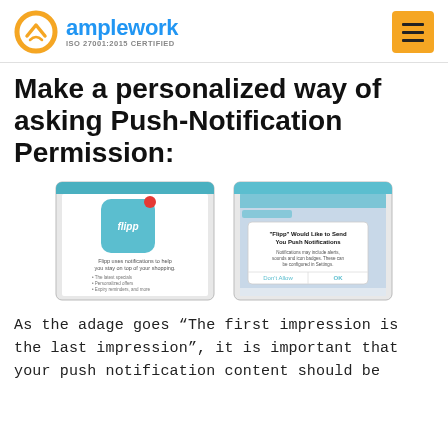amplework ISO 27001:2015 CERTIFIED
Make a personalized way of asking Push-Notification Permission:
[Figure (screenshot): Two mobile phone screenshots showing push notification permission flow: left screen shows a pre-permission custom prompt with Flipp app icon and message about using notifications; right screen shows the native iOS push notification permission dialog saying 'Flipp Would Like to Send You Push Notifications' with Don't Allow and OK buttons.]
As the adage goes “The first impression is the last impression”, it is important that your push notification content should be